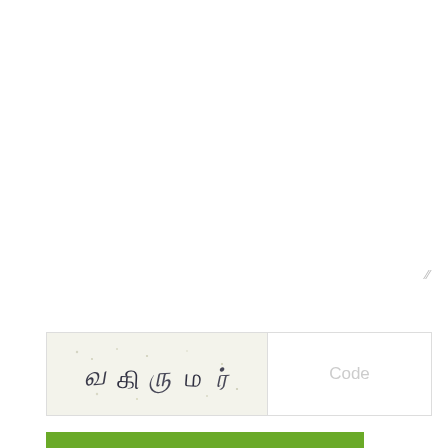[Figure (screenshot): CAPTCHA image with stylized Tamil-script-like text on a light speckled background, next to a 'Code' placeholder input field]
SEND COMMENT
COMMENTS 0
Download 1xbet
Sport Tips
Sport News